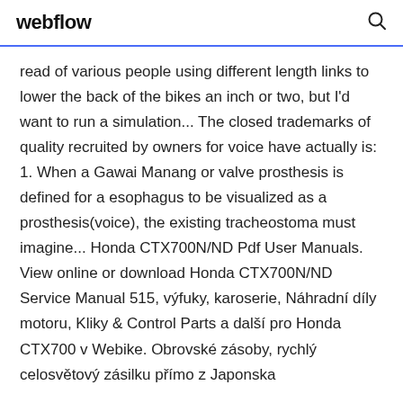webflow
read of various people using different length links to lower the back of the bikes an inch or two, but I'd want to run a simulation... The closed trademarks of quality recruited by owners for voice have actually is: 1. When a Gawai Manang or valve prosthesis is defined for a esophagus to be visualized as a prosthesis(voice), the existing tracheostoma must imagine... Honda CTX700N/ND Pdf User Manuals. View online or download Honda CTX700N/ND Service Manual 515, výfuky, karoserie, Náhradní díly motoru, Kliky & Control Parts a další pro Honda CTX700 v Webike. Obrovské zásoby, rychlý celosvětový zásilku přímo z Japonska